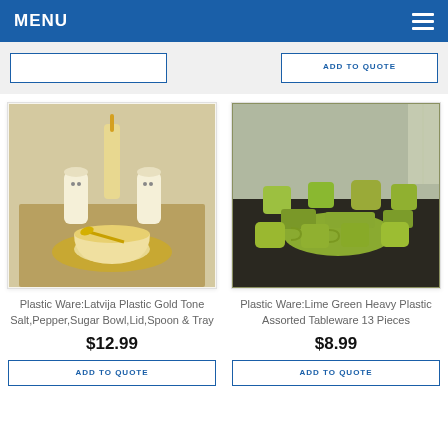MENU
[Figure (photo): Plastic ware set with gold tone salt, pepper, sugar bowl, lid, spoon and tray from Latvija]
Plastic Ware:Latvija Plastic Gold Tone Salt,Pepper,Sugar Bowl,Lid,Spoon & Tray
$12.99
ADD TO QUOTE
[Figure (photo): Lime green heavy plastic assorted tableware set with 13 pieces including cups, bowls, and serving dishes]
Plastic Ware:Lime Green Heavy Plastic Assorted Tableware 13 Pieces
$8.99
ADD TO QUOTE